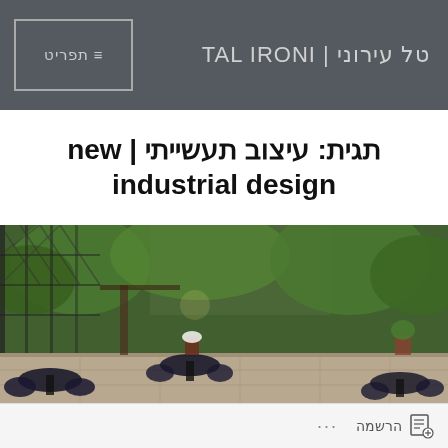≡ תפריט | טל עירוני | TAL IRONI
תגית: עיצוב תעשייתי | new industrial design
[Figure (photo): Outdoor garden restaurant or cafe courtyard with lush green plants, metal lattice fencing, dark round tables and chairs on a stone-paved patio]
... הרשמה